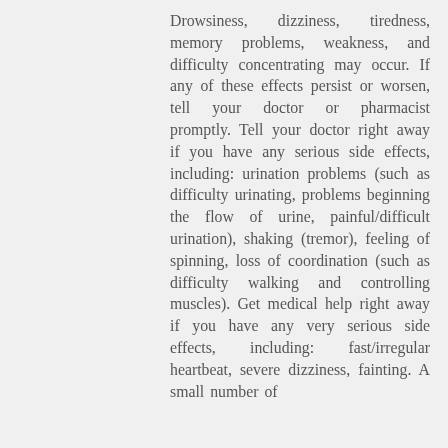Drowsiness, dizziness, tiredness, memory problems, weakness, and difficulty concentrating may occur. If any of these effects persist or worsen, tell your doctor or pharmacist promptly. Tell your doctor right away if you have any serious side effects, including: urination problems (such as difficulty urinating, problems beginning the flow of urine, painful/difficult urination), shaking (tremor), feeling of spinning, loss of coordination (such as difficulty walking and controlling muscles). Get medical help right away if you have any very serious side effects, including: fast/irregular heartbeat, severe dizziness, fainting. A small number of